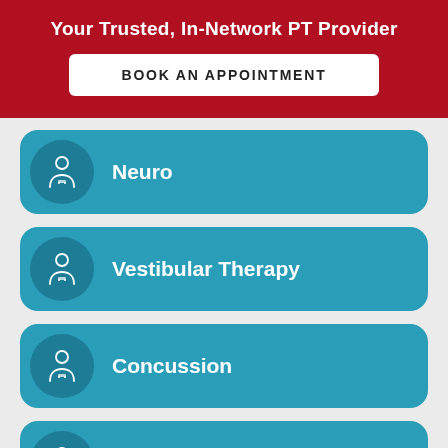Your Trusted, In-Network PT Provider
BOOK AN APPOINTMENT
Neuro
Vestibular Therapy
Concussion
Cupping